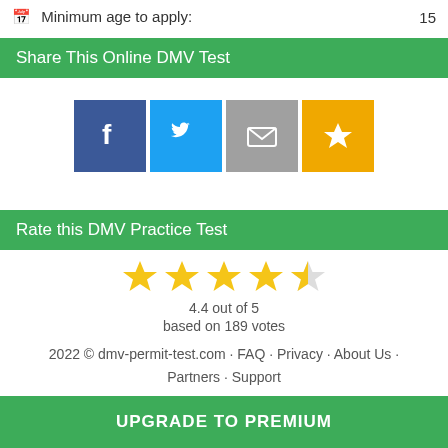🗓 Minimum age to apply: 15
Share This Online DMV Test
[Figure (infographic): Social share buttons: Facebook (blue), Twitter (light blue), Email (gray), Favorite/Star (orange)]
Rate this DMV Practice Test
[Figure (other): 4.4 out of 5 stars rating — 4 full stars and 1 half star shown in gold, with text '4.4 out of 5' and 'based on 189 votes']
2022 © dmv-permit-test.com · FAQ · Privacy · About Us · Partners · Support
UPGRADE TO PREMIUM